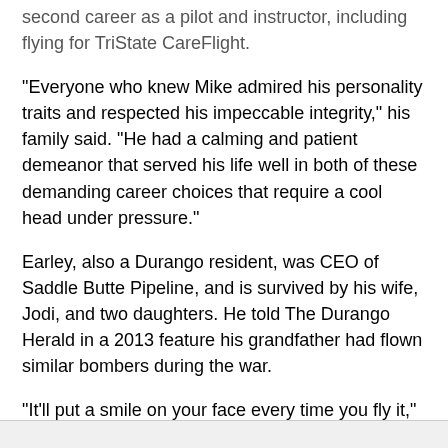second career as a pilot and instructor, including flying for TriState CareFlight.
“Everyone who knew Mike admired his personality traits and respected his impeccable integrity,” his family said. “He had a calming and patient demeanor that served his life well in both of these demanding career choices that require a cool head under pressure.”
Earley, also a Durango resident, was CEO of Saddle Butte Pipeline, and is survived by his wife, Jodi, and two daughters. He told The Durango Herald in a 2013 feature his grandfather had flown similar bombers during the war.
“It’ll put a smile on your face every time you fly it,” he said of the antique plane, of which only about 120 remain.
Attempts to reach his wife, Jodi, were unsuccessful; it is unclear if Earley used marijuana for medicinal purposes.
Source: http://www.cortezjournal.com